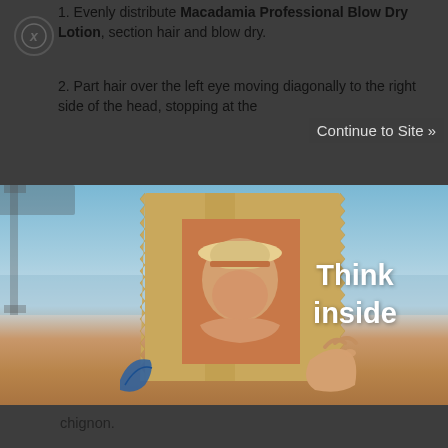1. Evenly distribute Macadamia Professional Blow Dry Lotion, section hair and blow dry.
2. Part hair over the left eye moving diagonally to the right side of the head, stopping at the
Continue to Site »
[Figure (photo): Advertisement image showing a hand holding a cardboard picture frame on a beach, with a child wearing a hat visible inside the frame. Text reads 'Think inside'. Blurred hourglass and beach background.]
chignon.